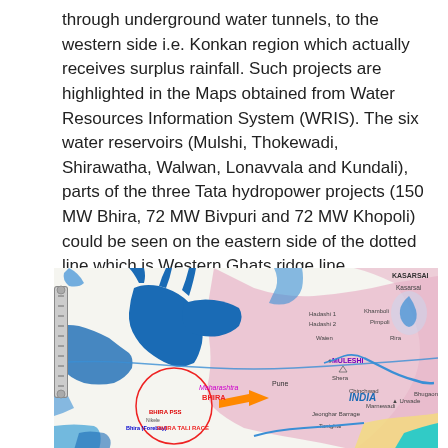through underground water tunnels, to the western side i.e. Konkan region which actually receives surplus rainfall. Such projects are highlighted in the Maps obtained from Water Resources Information System (WRIS). The six water reservoirs (Mulshi, Thokewadi, Shirawatha, Walwan, Lonavvala and Kundali), parts of the three Tata hydropower projects (150 MW Bhira, 72 MW Bivpuri and 72 MW Khopoli) could be seen on the eastern side of the dotted line which is Western Ghats ridge line.
[Figure (map): A geographic map showing water reservoirs and hydropower projects in the Western Ghats region of Maharashtra, India. Features include blue water bodies, pink shaded region, river systems, and labeled locations including Bhira, Maharashtra, Mulshi, Pune, Khamboli, Pimpoli, Kasarsai, MULESHI, Hadashi 1, Hadashi 2, Waien, Shera, Chinchwad, Marnewadi, Urwade, Bhugaon, Jeonghar Barrage, Tonighar, INDIA label. A red circled area highlights Bhira PSS, Bhira (Forebay), BHIRA TALI RACE, with an orange arrow pointing right.]